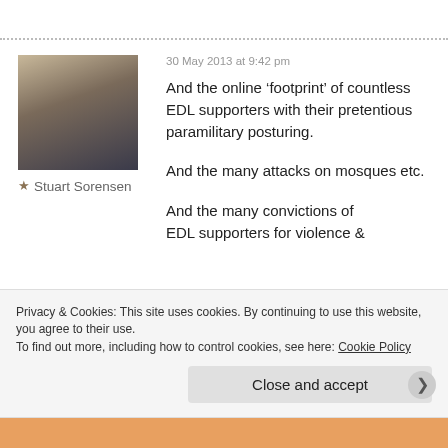30 May 2013 at 9:42 pm
[Figure (photo): Profile photo of Stuart Sorensen, a middle-aged man with grey beard wearing a dark blue shirt]
★ Stuart Sorensen
And the online ‘footprint’ of countless EDL supporters with their pretentious paramilitary posturing.
And the many attacks on mosques etc.
And the many convictions of EDL supporters for violence &
Privacy & Cookies: This site uses cookies. By continuing to use this website, you agree to their use. To find out more, including how to control cookies, see here: Cookie Policy
Close and accept